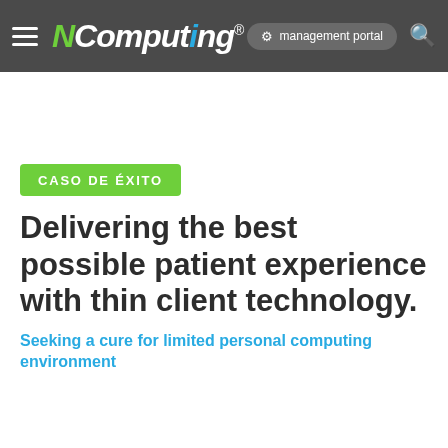[Figure (logo): NComputing navigation bar with hamburger menu, NComputing logo, management portal button, and search icon on dark gray background]
CASO DE ÉXITO
Delivering the best possible patient experience with thin client technology.
Seeking a cure for limited personal computing environment